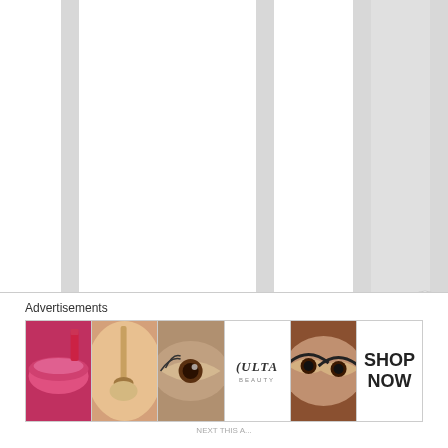[Figure (other): Vertical striped background with alternating white and gray columns. Vertical text reading 'right. I'm sorry abo' is visible in a gray column.]
right. I'm sorry abo
[Figure (other): Close/dismiss button (circled X) in the lower right area]
Advertisements
[Figure (infographic): Advertisement banner showing beauty/makeup products: lips with lipstick, makeup brush, eye with makeup, ULTA Beauty logo, eyes with dramatic makeup, SHOP NOW text]